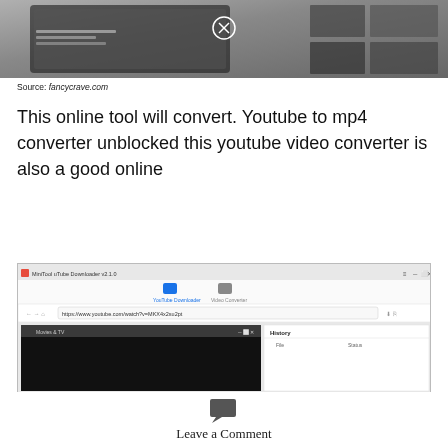[Figure (screenshot): Partial screenshot of a tablet/phone showing a website with video thumbnails and a circular close button overlay]
Source: fancycrave.com
This online tool will convert. Youtube to mp4 converter unblocked this youtube video converter is also a good online
[Figure (screenshot): Screenshot of MiniTool uTube Downloader v2.1.0 application window showing YouTube Downloader and Video Converter tabs, a URL input bar with https://www.youtube.com/watch?v=MKX4x2su2pt, and a History panel]
Leave a Comment